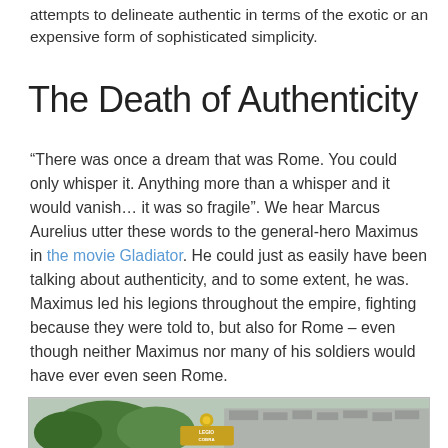attempts to delineate authentic in terms of the exotic or an expensive form of sophisticated simplicity.
The Death of Authenticity
“There was once a dream that was Rome. You could only whisper it. Anything more than a whisper and it would vanish… it was so fragile”. We hear Marcus Aurelius utter these words to the general-hero Maximus in the movie Gladiator. He could just as easily have been talking about authenticity, and to some extent, he was. Maximus led his legions throughout the empire, fighting because they were told to, but also for Rome – even though neither Maximus nor many of his soldiers would have ever even seen Rome.
[Figure (photo): A photograph showing the Colosseum in Rome with trees and signage visible in the foreground.]